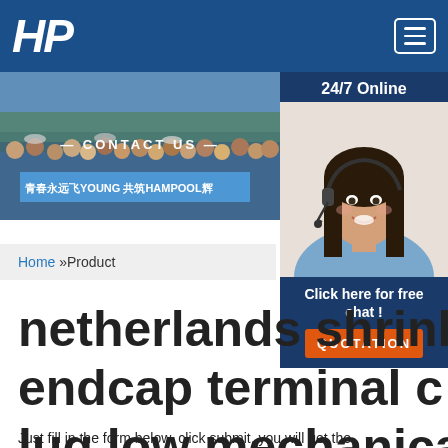[Figure (logo): HP logo in white italic bold text on blue header bar, with hamburger menu icon]
[Figure (photo): Banner photo showing a group of people with Chinese text and HAMPOOL branding, CONTACT US heading]
[Figure (photo): Sidebar panel with 24/7 Online text, photo of smiling female customer service agent with headset, Click here for free chat!, and QUOTATION button]
Home »Product
netherlands shrink endcap terminal connector lug low mechanical wear
Just fill in the form below, click submit, you will get the